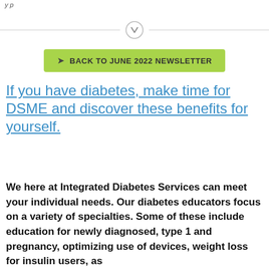y p
[Figure (other): Horizontal divider line with a circular download/arrow icon in the center]
BACK TO JUNE 2022 NEWSLETTER
If you have diabetes, make time for DSME and discover these benefits for yourself.
We here at Integrated Diabetes Services can meet your individual needs. Our diabetes educators focus on a variety of specialties. Some of these include education for newly diagnosed, type 1 and pregnancy, optimizing use of devices, weight loss for insulin users, as